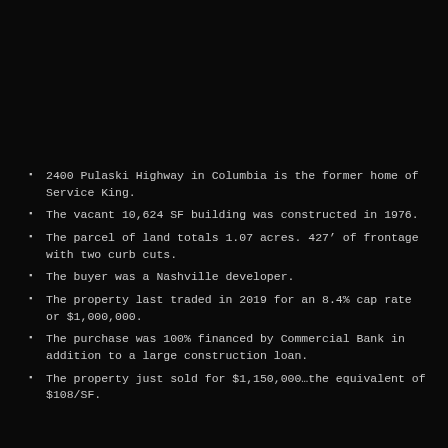2400 Pulaski Highway in Columbia is the former home of Service King.
The vacant 10,624 SF building was constructed in 1976.
The parcel of land totals 1.07 acres. 427’ of frontage with two curb cuts.
The buyer was a Nashville developer.
The property last traded in 2019 for an 8.4% cap rate or $1,000,000.
The purchase was 100% financed by Commercial Bank in addition to a large construction loan.
The property just sold for $1,150,000…the equivalent of $108/SF.